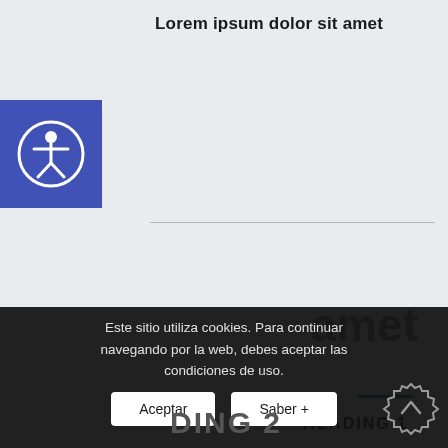Lorem ipsum dolor sit amet
[Figure (illustration): Blue square accessibility icon with a white person/wheelchair symbol in a circle]
HEADING 1
Lorem ipsum dolor sit amet
Este sitio utiliza cookies. Para continuar navegando por la web, debes aceptar las condiciones de uso.
Aceptar
Saber +
DING 2